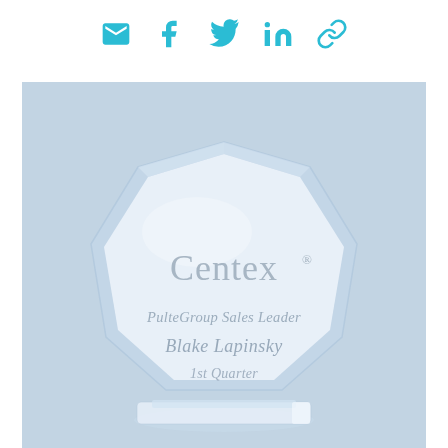[Figure (infographic): Row of social media icons in cyan/teal color: email envelope, Facebook f, Twitter bird, LinkedIn in, and a link/share icon]
[Figure (photo): A glass crystal award plaque on a blue-gray background. The plaque is octagonal/faceted and engraved with 'Centex®' logo, 'PulteGroup Sales Leader', 'Blake Lapinsky', '1st Quarter'. The award sits on a clear glass base.]